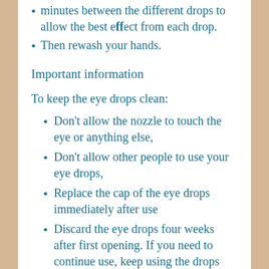minutes between the different drops to allow the best effect from each drop.
Then rewash your hands.
Important information
To keep the eye drops clean:
Don't allow the nozzle to touch the eye or anything else,
Don't allow other people to use your eye drops,
Replace the cap of the eye drops immediately after use
Discard the eye drops four weeks after first opening. If you need to continue use, keep using the drops until you have arranged a new supply.